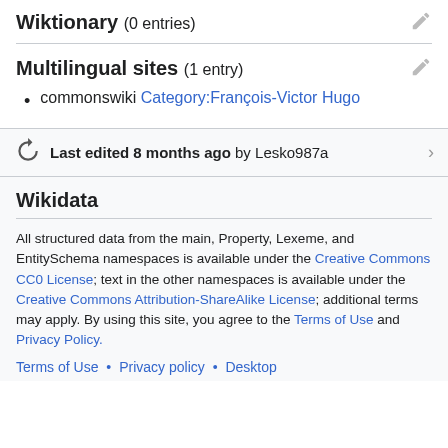Wiktionary (0 entries)
Multilingual sites (1 entry)
commonswiki Category:François-Victor Hugo
Last edited 8 months ago by Lesko987a
Wikidata
All structured data from the main, Property, Lexeme, and EntitySchema namespaces is available under the Creative Commons CC0 License; text in the other namespaces is available under the Creative Commons Attribution-ShareAlike License; additional terms may apply. By using this site, you agree to the Terms of Use and Privacy Policy.
Terms of Use • Privacy policy • Desktop